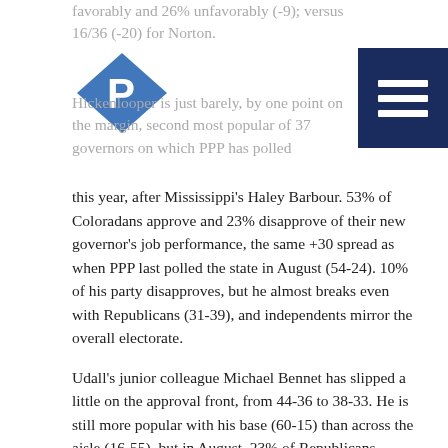favorably and 26% unfavorably (-9); versus 16/36 (-20) for Norton.
[Figure (logo): PPP (Public Policy Polling) logo — blue diamond shape with white P letter]
Hickenlooper is just barely, by one point on the margin, second most popular of 37 governors on which PPP has polled this year, after Mississippi's Haley Barbour. 53% of Coloradans approve and 23% disapprove of their new governor's job performance, the same +30 spread as when PPP last polled the state in August (54-24). 10% of his party disapproves, but he almost breaks even with Republicans (31-39), and independents mirror the overall electorate.
Udall's junior colleague Michael Bennet has slipped a little on the approval front, from 44-36 to 38-33. He is still more popular with his base (60-15) than across the aisle (16-55), but in August, 23% of Republicans approved. Bennet has upped his support among independents a bit, from 40-37 to 36-29.
PPP surveyed 793 Colorado voters from December 1st to 4th. The margin of error for the survey is +/-3.5%. This poll was not paid for or authorized by any campaign or political organization. PPP surveys are conducted through automated telephone interviews. PPP is a Democratic polling company, but polling